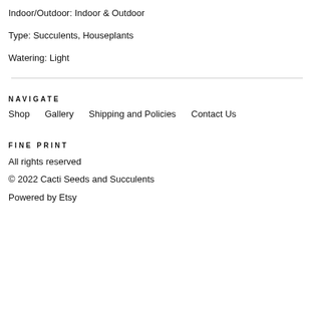Indoor/Outdoor: Indoor & Outdoor
Type: Succulents, Houseplants
Watering: Light
NAVIGATE
Shop   Gallery   Shipping and Policies   Contact Us
FINE PRINT
All rights reserved
© 2022 Cacti Seeds and Succulents
Powered by Etsy